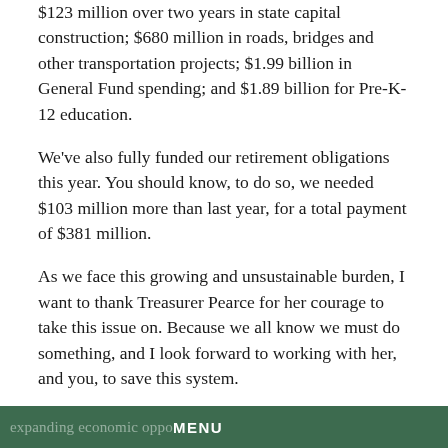$123 million over two years in state capital construction; $680 million in roads, bridges and other transportation projects; $1.99 billion in General Fund spending; and $1.89 billion for Pre-K-12 education.
We've also fully funded our retirement obligations this year. You should know, to do so, we needed $103 million more than last year, for a total payment of $381 million.
As we face this growing and unsustainable burden, I want to thank Treasurer Pearce for her courage to take this issue on. Because we all know we must do something, and I look forward to working with her, and you, to save this system.
***
This budget also makes $210 million of smart, one-time investments to improve services and stimulate growth by tackling major challenges like broadband, climate change and expanding economic oppo...
MENU